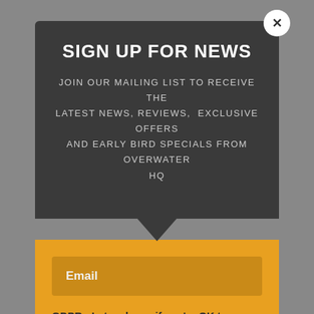SIGN UP FOR NEWS
JOIN OUR MAILING LIST TO RECEIVE THE LATEST NEWS, REVIEWS, EXCLUSIVE OFFERS AND EARLY BIRD SPECIALS FROM OVERWATER HQ
Email
GDPR - Let us know if you're OK to receive emails
YES
NO